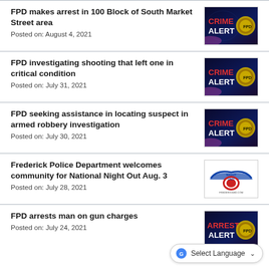FPD makes arrest in 100 Block of South Market Street area
Posted on: August 4, 2021
[Figure (photo): Crime Alert badge image with dark blue background and police badge]
FPD investigating shooting that left one in critical condition
Posted on: July 31, 2021
[Figure (photo): Crime Alert badge image with dark blue background and police badge]
FPD seeking assistance in locating suspect in armed robbery investigation
Posted on: July 30, 2021
[Figure (photo): Crime Alert badge image with dark blue background and police badge]
Frederick Police Department welcomes community for National Night Out Aug. 3
Posted on: July 28, 2021
[Figure (logo): National Night Out logo with eagle wings and shield]
FPD arrests man on gun charges
Posted on: July 24, 2021
[Figure (photo): Arrest Alert badge image with dark blue background]